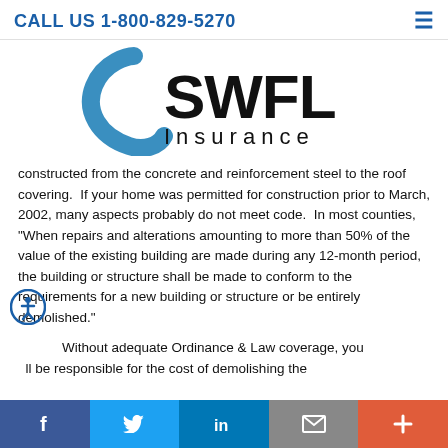CALL US 1-800-829-5270
[Figure (logo): SWFL Insurance logo with blue swoosh and black text]
constructed from the concrete and reinforcement steel to the roof covering. If your home was permitted for construction prior to March, 2002, many aspects probably do not meet code. In most counties, "When repairs and alterations amounting to more than 50% of the value of the existing building are made during any 12-month period, the building or structure shall be made to conform to the requirements for a new building or structure or be entirely demolished."
Without adequate Ordinance & Law coverage, you ll be responsible for the cost of demolishing the
Facebook | Twitter | LinkedIn | Mail | +